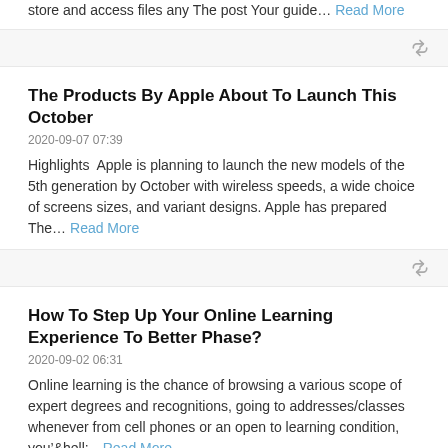store and access files any The post Your guide… Read More
The Products By Apple About To Launch This October
2020-09-07 07:39
Highlights  Apple is planning to launch the new models of the 5th generation by October with wireless speeds, a wide choice of screens sizes, and variant designs. Apple has prepared The… Read More
How To Step Up Your Online Learning Experience To Better Phase?
2020-09-02 06:31
Online learning is the chance of browsing a various scope of expert degrees and recognitions, going to addresses/classes whenever from cell phones or an open to learning condition, you&rsquo&hell…Read More
Your Guide To Recover Data From USB Drive Right